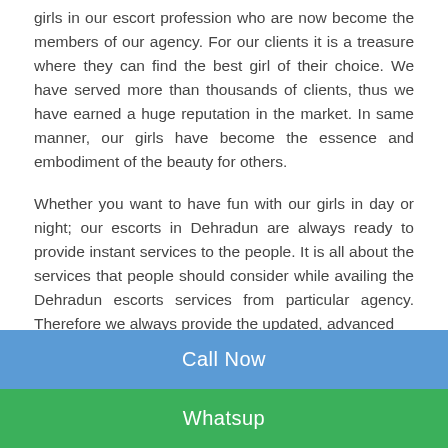girls in our escort profession who are now become the members of our agency. For our clients it is a treasure where they can find the best girl of their choice. We have served more than thousands of clients, thus we have earned a huge reputation in the market. In same manner, our girls have become the essence and embodiment of the beauty for others.
Whether you want to have fun with our girls in day or night; our escorts in Dehradun are always ready to provide instant services to the people. It is all about the services that people should consider while availing the Dehradun escorts services from particular agency. Therefore we always provide the updated, advanced
Call Now
Whatsup